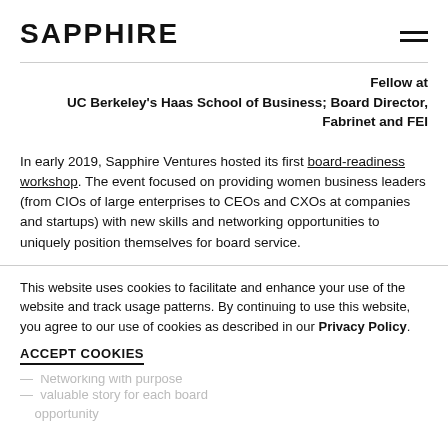SAPPHIRE
Fellow at UC Berkeley's Haas School of Business; Board Director, Fabrinet and FEI
In early 2019, Sapphire Ventures hosted its first board-readiness workshop. The event focused on providing women business leaders (from CIOs of large enterprises to CEOs and CXOs at companies and startups) with new skills and networking opportunities to uniquely position themselves for board service.
This website uses cookies to facilitate and enhance your use of the website and track usage patterns. By continuing to use this website, you agree to our use of cookies as described in our Privacy Policy.
ACCEPT COOKIES